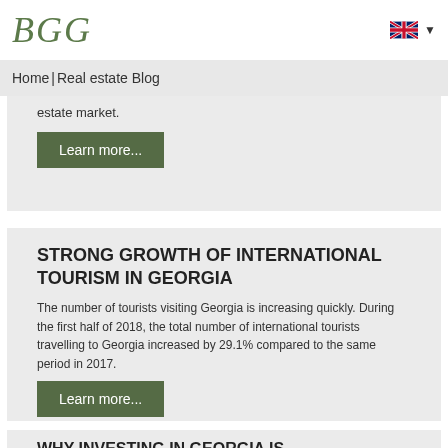BGG
Home | Real estate Blog
estate market.
Learn more...
STRONG GROWTH OF INTERNATIONAL TOURISM IN GEORGIA
The number of tourists visiting Georgia is increasing quickly. During the first half of 2018, the total number of international tourists travelling to Georgia increased by 29.1% compared to the same period in 2017.
Learn more...
WHY INVESTING IN GEORGIA IS